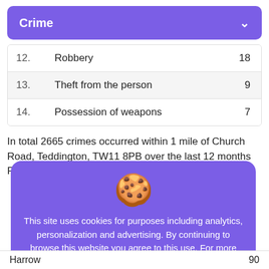Crime
| # | Category | Count |
| --- | --- | --- |
| 12. | Robbery | 18 |
| 13. | Theft from the person | 9 |
| 14. | Possession of weapons | 7 |
In total 2665 crimes occurred within 1 mile of Church Road, Teddington, TW11 8PB over the last 12 months February
[Figure (other): Cookie consent overlay with stacked cookies illustration, text about site cookies policy including analytics, personalization and advertising, Privacy Policy link, and a 'Got it' button.]
Harrow   90